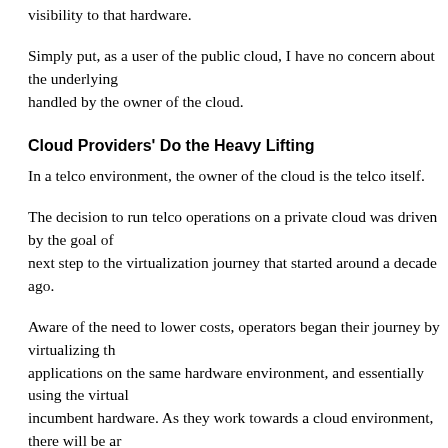visibility to that hardware.
Simply put, as a user of the public cloud, I have no concern about the underlying handled by the owner of the cloud.
Cloud Providers' Do the Heavy Lifting
In a telco environment, the owner of the cloud is the telco itself.
The decision to run telco operations on a private cloud was driven by the goal of next step to the virtualization journey that started around a decade ago.
Aware of the need to lower costs, operators began their journey by virtualizing th applications on the same hardware environment, and essentially using the virtual incumbent hardware. As they work towards a cloud environment, there will be ar elements. One benefit of the cloudified environment is the elasticity provided in u
However, even as telcos approach their goal of full cloudification, they are never infrastructure. ETSI defined clear guidelines on how a telco can deploy a cloud e Interface (NFVI) and Virtual Infrastructure Manager (VIM) are basic building blo physical infrastructure they are based on. The VNFs interface with these building interact with the underlying infrastructure.